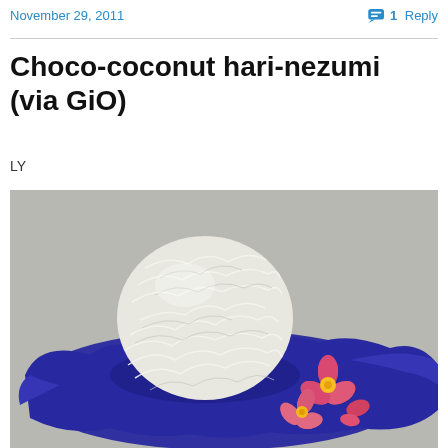November 29, 2011
1 Reply
Choco-coconut hari-nezumi (via GiO)
LY
[Figure (photo): A ball of shredded coconut on a dark blue leaf-shaped plate, garnished with pink flowers with yellow centers, on a light gray background.]